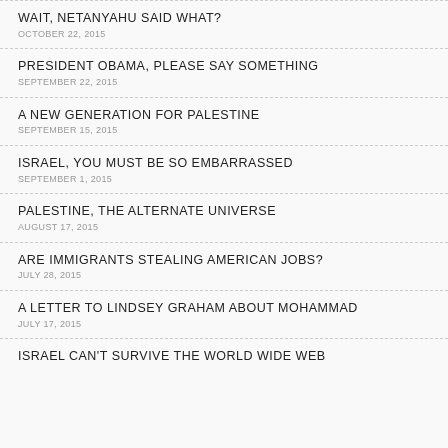WAIT, NETANYAHU SAID WHAT?
OCTOBER 22, 2015
PRESIDENT OBAMA, PLEASE SAY SOMETHING
SEPTEMBER 22, 2015
A NEW GENERATION FOR PALESTINE
SEPTEMBER 15, 2015
ISRAEL, YOU MUST BE SO EMBARRASSED
SEPTEMBER 1, 2015
PALESTINE, THE ALTERNATE UNIVERSE
AUGUST 17, 2015
ARE IMMIGRANTS STEALING AMERICAN JOBS?
JULY 28, 2015
A LETTER TO LINDSEY GRAHAM ABOUT MOHAMMAD
JULY 17, 2015
ISRAEL CAN'T SURVIVE THE WORLD WIDE WEB